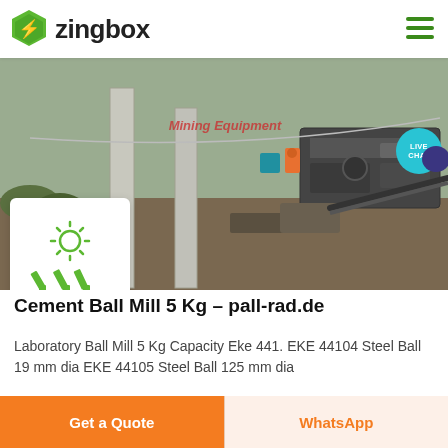zingbox
[Figure (photo): Construction site with industrial mining/crushing equipment, concrete pillars visible. Overlaid text reads 'Mining Equipment'. A product thumbnail showing a ball mill icon (sun and industrial equipment symbols in green) is in the lower left.]
Cement Ball Mill 5 Kg - pall-rad.de
Laboratory Ball Mill 5 Kg Capacity Eke 441. EKE 44104 Steel Ball 19 mm dia EKE 44105 Steel Ball 125 mm dia